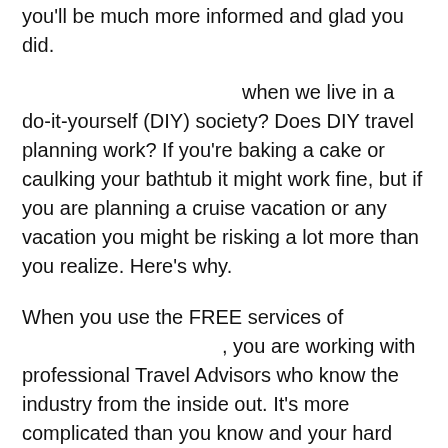you'll be much more informed and glad you did.
when we live in a do-it-yourself (DIY) society? Does DIY travel planning work? If you're baking a cake or caulking your bathtub it might work fine, but if you are planning a cruise vacation or any vacation you might be risking a lot more than you realize. Here's why.
When you use the FREE services of , you are working with professional Travel Advisors who know the industry from the inside out. It's more complicated than you know and your hard earned vacation time and dollars are at risk. You'll quickly learn the when you discover the benefit of us being your unbiased _ , the _ we have with